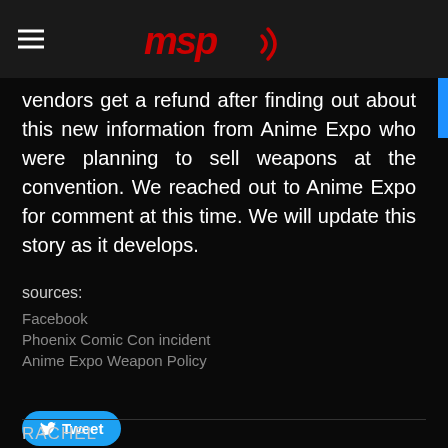MSP (logo)
vendors get a refund after finding out about this new information from Anime Expo who were planning to sell weapons at the convention. We reached out to Anime Expo for comment at this time. We will update this story as it develops.
sources:
Facebook
Phoenix Comic Con incident
Anime Expo Weapon Policy
[Figure (other): Tweet button with Twitter bird icon]
4 Comments
RACHEL